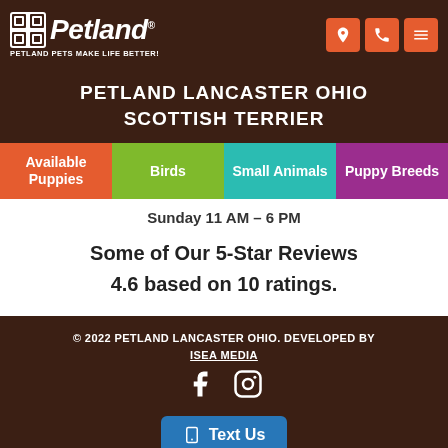Petland — PETLAND PETS MAKE LIFE BETTER!
PETLAND LANCASTER OHIO SCOTTISH TERRIER
Available Puppies
Birds
Small Animals
Puppy Breeds
Sunday 11 AM – 6 PM
Some of Our 5-Star Reviews
4.6 based on 10 ratings.
© 2022 PETLAND LANCASTER OHIO. DEVELOPED BY ISEA MEDIA
Need Help?